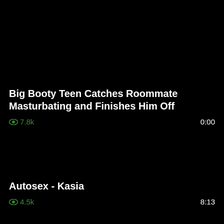Big Booty Teen Catches Roommate Masturbating and Finishes Him Off
👁 7.8k   0:00
Autosex - Kasia
👁 4.5k   8:13